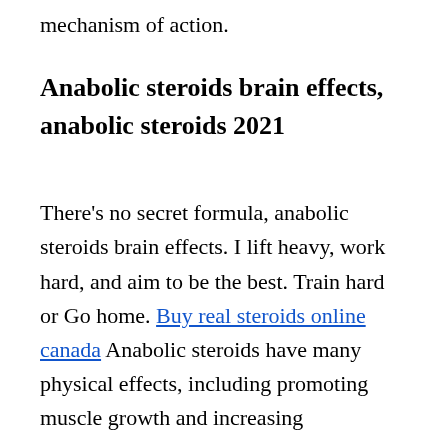mechanism of action.
Anabolic steroids brain effects, anabolic steroids 2021
There’s no secret formula, anabolic steroids brain effects. I lift heavy, work hard, and aim to be the best. Train hard or Go home. Buy real steroids online canada Anabolic steroids have many physical effects, including promoting muscle growth and increasing